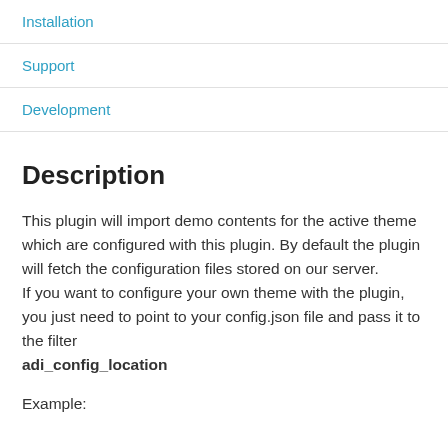Installation
Support
Development
Description
This plugin will import demo contents for the active theme which are configured with this plugin. By default the plugin will fetch the configuration files stored on our server.
If you want to configure your own theme with the plugin, you just need to point to your config.json file and pass it to the filter
adi_config_location
Example: